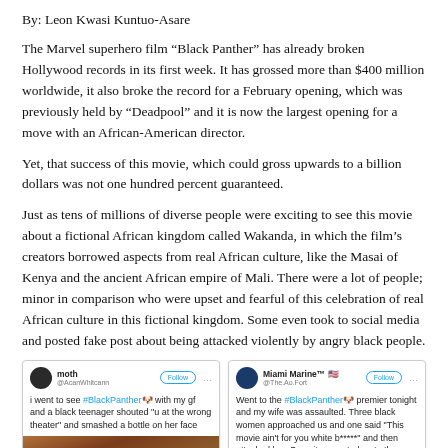By: Leon Kwasi Kuntuo-Asare
The Marvel superhero film “Black Panther” has already broken Hollywood records in its first week. It has grossed more than $400 million worldwide, it also broke the record for a February opening, which was previously held by “Deadpool” and it is now the largest opening for a move with an African-American director.
Yet, that success of this movie, which could gross upwards to a billion dollars was not one hundred percent guaranteed.
Just as tens of millions of diverse people were exciting to see this movie about a fictional African kingdom called Wakanda, in which the film’s creators borrowed aspects from real African culture, like the Masai of Kenya and the ancient African empire of Mali. There were a lot of people; minor in comparison who were upset and fearful of this celebration of real African culture in this fictional kingdom. Some even took to social media and posted fake post about being attacked violently by angry black people.
[Figure (screenshot): Two screenshots of fake tweets about Black Panther attacks. Left tweet by 'moth' claiming a black teenager assaulted his girlfriend at a Black Panther showing. Right tweet by 'Miami Marine' claiming his wife was assaulted by black women at the Black Panther premiere.]